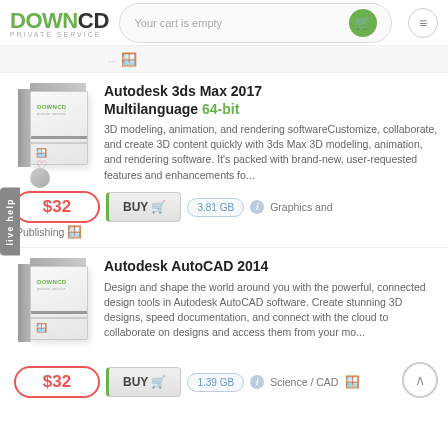DOWNCD PRIVATE SERVICE — Your cart is empty
[Figure (screenshot): Partial product image visible at top of page]
[Figure (illustration): DownCD software box image for Autodesk 3ds Max 2017]
Autodesk 3ds Max 2017 Multilanguage 64-bit
3D modeling, animation, and rendering softwareCustomize, collaborate, and create 3D content quickly with 3ds Max 3D modeling, animation, and rendering software. It's packed with brand-new, user-requested features and enhancements fo...
$32  BUY  3.81 GB  Graphics and Publishing
[Figure (illustration): DownCD software box image for Autodesk AutoCAD 2014]
Autodesk AutoCAD 2014
Design and shape the world around you with the powerful, connected design tools in Autodesk AutoCAD software. Create stunning 3D designs, speed documentation, and connect with the cloud to collaborate on designs and access them from your mo...
$32  BUY  1.39 GB  Science / CAD